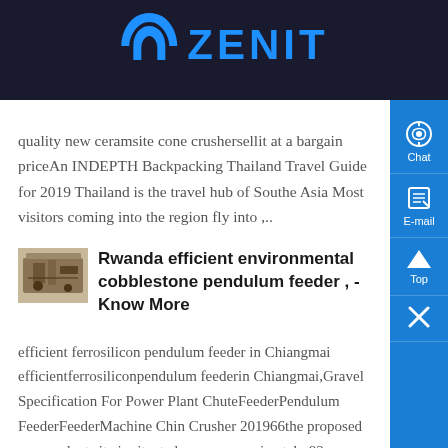ZENIT
quality new ceramsite cone crushersellit at a bargain priceAn INDEPTH Backpacking Thailand Travel Guide for 2019 Thailand is the travel hub of Southeast Asia Most visitors coming into the region fly into ,..
[Figure (photo): Small thumbnail image of industrial machinery/feeder equipment]
Rwanda efficient environmental cobblestone pendulum feeder , - Know More
efficient ferrosilicon pendulum feeder in Chiangmai efficientferrosiliconpendulum feederin Chiangmai,Gravel Specification For Power Plant ChuteFeederPendulum FeederFeederMachine China Crusher 201966the proposed power plant site is situated on an approximately 83acre area near the northeast corner of utah lake in utahhe proposed pla